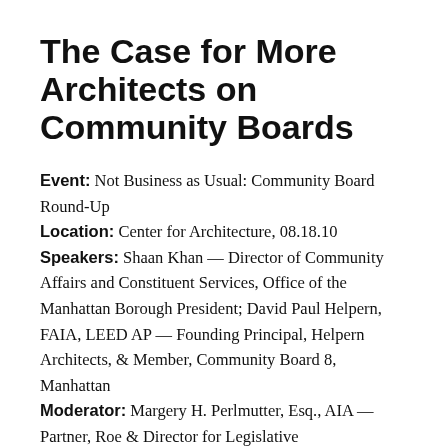The Case for More Architects on Community Boards
Event: Not Business as Usual: Community Board Round-Up
Location: Center for Architecture, 08.18.10
Speakers: Shaan Khan — Director of Community Affairs and Constituent Services, Office of the Manhattan Borough President; David Paul Helpern, FAIA, LEED AP — Founding Principal, Helpern Architects, & Member, Community Board 8, Manhattan
Moderator: Margery H. Perlmutter, Esq., AIA — Partner, Roe & Director for Legislative...